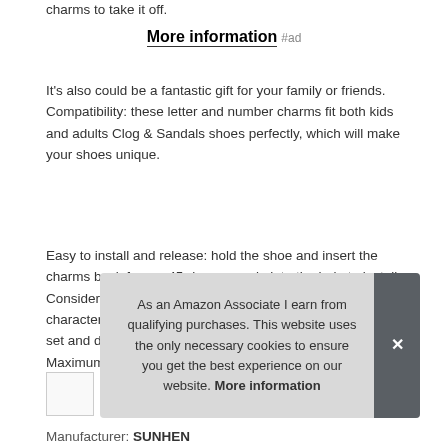charms to take it off.
More information #ad
It's also could be a fantastic gift for your family or friends. Compatibility: these letter and number charms fit both kids and adults Clog & Sandals shoes perfectly, which will make your shoes unique.
Easy to install and release: hold the shoe and insert the charms back from a 45-degree angle into the hole to install. Consider that you might be using the same or different characters on both sides of the shoes, we provide the full set and double pieces for each letter and number. Maximum con...
As an Amazon Associate I earn from qualifying purchases. This website uses the only necessary cookies to ensure you get the best experience on our website. More information
Manufacturer: SUNHEN...